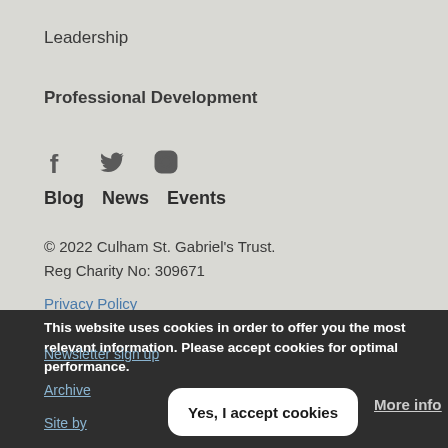Leadership
Professional Development
[Figure (illustration): Social media icons: Facebook (f), Twitter (bird), Instagram (camera outline)]
Blog   News   Events
© 2022 Culham St. Gabriel's Trust.
Reg Charity No: 309671
Privacy Policy
This website uses cookies in order to offer you the most relevant information. Please accept cookies for optimal performance.
Newsletter sign up
Archive
Site by
Yes, I accept cookies
More info